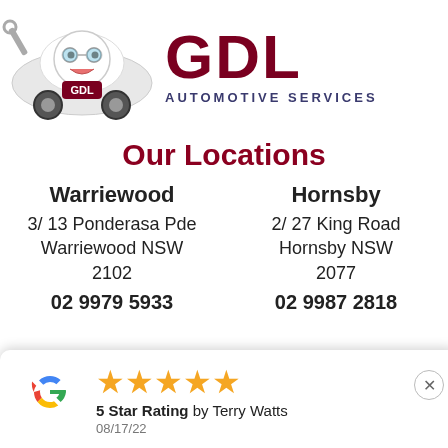[Figure (logo): GDL Automotive Services logo — cartoon car mascot with wrench and sunglasses on left, large bold dark red GDL text with AUTOMOTIVE SERVICES subtitle on right]
Our Locations
Warriewood
3/ 13 Ponderasa Pde
Warriewood NSW
2102
02 9979 5933
Hornsby
2/ 27 King Road
Hornsby NSW
2077
02 9987 2818
Our Services
Menu
[Figure (screenshot): Google review popup showing 5 gold stars, '5 Star Rating by Terry Watts', date 08/17/22, Google G logo on left, X close button on right]
Land Rover Servicing
Blog